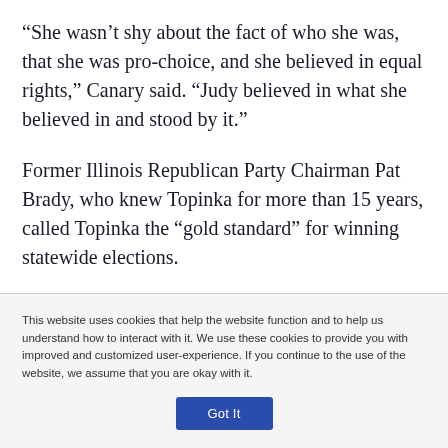“She wasn’t shy about the fact of who she was, that she was pro-choice, and she believed in equal rights,” Canary said. “Judy believed in what she believed in and stood by it.”
Former Illinois Republican Party Chairman Pat Brady, who knew Topinka for more than 15 years, called Topinka the “gold standard” for winning statewide elections.
This website uses cookies that help the website function and to help us understand how to interact with it. We use these cookies to provide you with improved and customized user-experience. If you continue to the use of the website, we assume that you are okay with it.
Got It